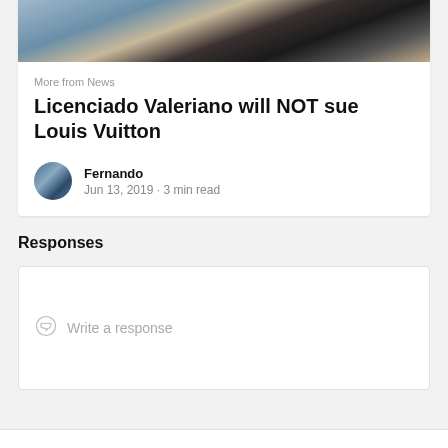[Figure (photo): Partial photo strip showing people at the top of a news article card]
More from News
Licenciado Valeriano will NOT sue Louis Vuitton
[Figure (photo): Small circular avatar photo of the author Fernando]
Fernando
Jun 13, 2019 · 3 min read
Responses
Write a response